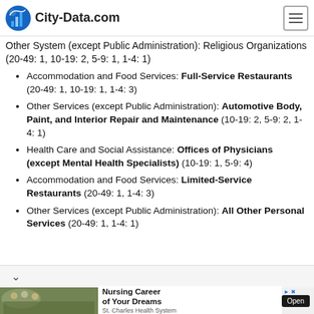City-Data.com
Other System (except Public Administration): Religious Organizations (20-49: 1, 10-19: 2, 5-9: 1, 1-4: 1)
Accommodation and Food Services: Full-Service Restaurants (20-49: 1, 10-19: 1, 1-4: 3)
Other Services (except Public Administration): Automotive Body, Paint, and Interior Repair and Maintenance (10-19: 2, 5-9: 2, 1-4: 1)
Health Care and Social Assistance: Offices of Physicians (except Mental Health Specialists) (10-19: 1, 5-9: 4)
Accommodation and Food Services: Limited-Service Restaurants (20-49: 1, 1-4: 3)
Other Services (except Public Administration): All Other Personal Services (20-49: 1, 1-4: 1)
[Figure (screenshot): Advertisement banner for Nursing Career of Your Dreams - St. Charles Health System with Open button]